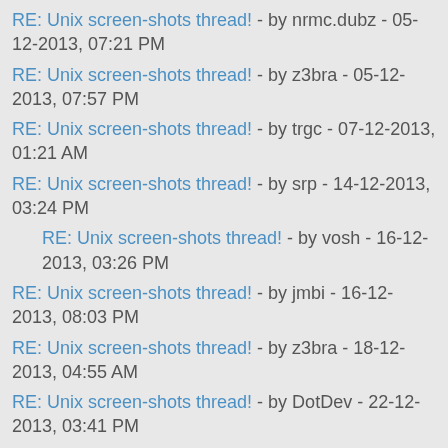RE: Unix screen-shots thread! - by nrmc.dubz - 05-12-2013, 07:21 PM
RE: Unix screen-shots thread! - by z3bra - 05-12-2013, 07:57 PM
RE: Unix screen-shots thread! - by trgc - 07-12-2013, 01:21 AM
RE: Unix screen-shots thread! - by srp - 14-12-2013, 03:24 PM
RE: Unix screen-shots thread! - by vosh - 16-12-2013, 03:26 PM
RE: Unix screen-shots thread! - by jmbi - 16-12-2013, 08:03 PM
RE: Unix screen-shots thread! - by z3bra - 18-12-2013, 04:55 AM
RE: Unix screen-shots thread! - by DotDev - 22-12-2013, 03:41 PM
RE: Unix screen-shots thread! - by funriz - 10-01-2014, 10:46 PM
RE: Unix screen-shots thread! - by lppytraxx - 11-01-2014, 01:27 PM
RE: Unix screen-shots thread! - by venam - 11-01-2014, 12:10 PM
RE: Unix screen-shots thread! - by funriz - 11-01-2014, 06:17 PM